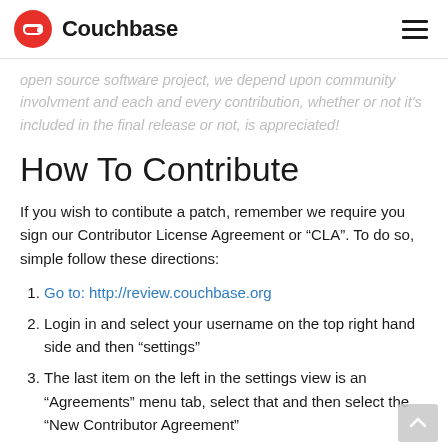Couchbase
open source software project, we depend upon community involvment and each and every contribution, whether or not it's included in the final release or not, is appreciated!
How To Contribute
If you wish to contibute a patch, remember we require you sign our Contributor License Agreement or "CLA". To do so, simple follow these directions:
Go to: http://review.couchbase.org
Login in and select your username on the top right hand side and then "settings"
The last item on the left in the settings view is an "Agreements" menu tab, select that and then select the "New Contributor Agreement"